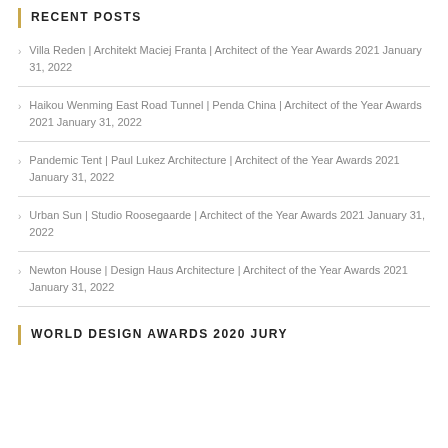RECENT POSTS
Villa Reden | Architekt Maciej Franta | Architect of the Year Awards 2021 January 31, 2022
Haikou Wenming East Road Tunnel | Penda China | Architect of the Year Awards 2021 January 31, 2022
Pandemic Tent | Paul Lukez Architecture | Architect of the Year Awards 2021 January 31, 2022
Urban Sun | Studio Roosegaarde | Architect of the Year Awards 2021 January 31, 2022
Newton House | Design Haus Architecture | Architect of the Year Awards 2021 January 31, 2022
WORLD DESIGN AWARDS 2020 JURY